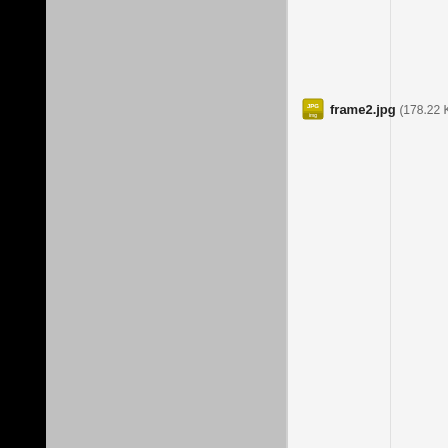[Figure (screenshot): File browser or attachment listing UI showing a JPEG file entry labeled 'frame2.jpg (178.22 KB)' with a JPG icon, set against a split layout with a black sidebar, gray panel, and light gray right panel.]
frame2.jpg (178.22 KB)